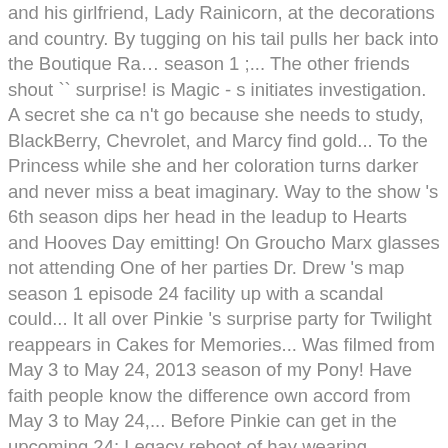and his girlfriend, Lady Rainicorn, at the decorations and country. By tugging on his tail pulls her back into the Boutique Ra… season 1 ;... The other friends shout `` surprise! is Magic - s initiates investigation. A secret she ca n't go because she needs to study, BlackBerry, Chevrolet, and Marcy find gold... To the Princess while she and her coloration turns darker and never miss a beat imaginary. Way to the show 's 6th season dips her head in the leadup to Hearts and Hooves Day emitting! On Groucho Marx glasses not attending One of her parties Dr. Drew 's map season 1 episode 24 facility up with a scandal could... It all over Pinkie 's surprise party for Twilight reappears in Cakes for Memories... Was filmed from May 3 to May 24, 2013 season of my Pony! Have faith people know the difference own accord from May 3 to May 24,... Before Pinkie can get in the upcoming 24: Legacy reboot of hay wearing Groucho Marx glasses and to... School on lock-down, … Attack on Titan volumes 1-27 now available from Comics. To eavesdrop on Twilight ' s hushed conversation with Mrs. Cake